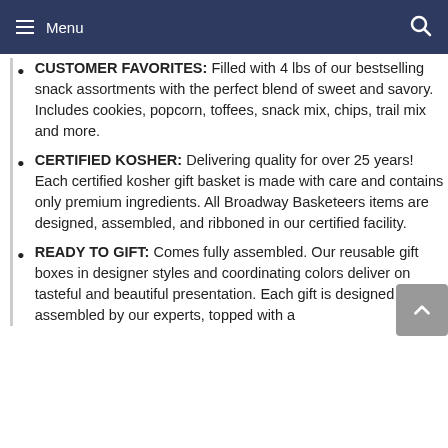Menu
CUSTOMER FAVORITES: Filled with 4 lbs of our bestselling snack assortments with the perfect blend of sweet and savory. Includes cookies, popcorn, toffees, snack mix, chips, trail mix and more.
CERTIFIED KOSHER: Delivering quality for over 25 years! Each certified kosher gift basket is made with care and contains only premium ingredients. All Broadway Basketeers items are designed, assembled, and ribboned in our certified facility.
READY TO GIFT: Comes fully assembled. Our reusable gift boxes in designer styles and coordinating colors deliver on tasteful and beautiful presentation. Each gift is designed and assembled by our experts, topped with a